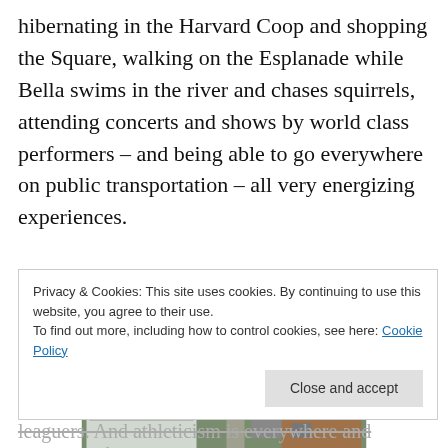hibernating in the Harvard Coop and shopping the Square, walking on the Esplanade while Bella swims in the river and chases squirrels, attending concerts and shows by world class performers – and being able to go everywhere on public transportation – all very energizing experiences.
[Figure (photo): Aerial view of MIT campus buildings including modernist and brick structures with green spaces and pathways between them]
Privacy & Cookies: This site uses cookies. By continuing to use this website, you agree to their use.
To find out more, including how to control cookies, see here: Cookie Policy
leaguers. And athleticism is everywhere and represented